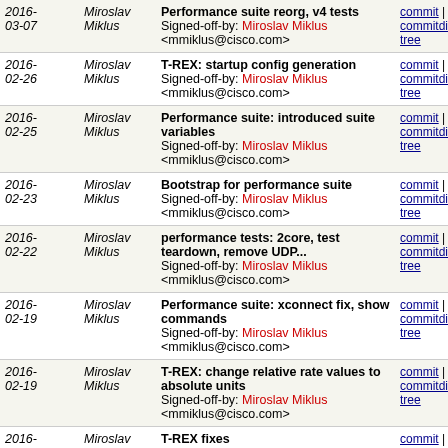| Date | Author | Message | Links |
| --- | --- | --- | --- |
| 2016-03-07 | Miroslav Miklus | Performance suite reorg, v4 tests
Signed-off-by: Miroslav Miklus <mmiklus@cisco.com> | commit | commitdiff | tree |
| 2016-02-26 | Miroslav Miklus | T-REX: startup config generation
Signed-off-by: Miroslav Miklus <mmiklus@cisco.com> | commit | commitdiff | tree |
| 2016-02-25 | Miroslav Miklus | Performance suite: introduced suite variables
Signed-off-by: Miroslav Miklus <mmiklus@cisco.com> | commit | commitdiff | tree |
| 2016-02-23 | Miroslav Miklus | Bootstrap for performance suite
Signed-off-by: Miroslav Miklus <mmiklus@cisco.com> | commit | commitdiff | tree |
| 2016-02-22 | Miroslav Miklus | performance tests: 2core, test teardown, remove UDP...
Signed-off-by: Miroslav Miklus <mmiklus@cisco.com> | commit | commitdiff | tree |
| 2016-02-19 | Miroslav Miklus | Performance suite: xconnect fix, show commands
Signed-off-by: Miroslav Miklus <mmiklus@cisco.com> | commit | commitdiff | tree |
| 2016-02-19 | Miroslav Miklus | T-REX: change relative rate values to absolute units
Signed-off-by: Miroslav Miklus <mmiklus@cisco.com> | commit | commitdiff | tree |
| 2016-02-17 | Miroslav Miklus | T-REX fixes
Signed-off-by: Miroslav Miklus <mmiklus@cisco.com> | commit | commitdiff | tree |